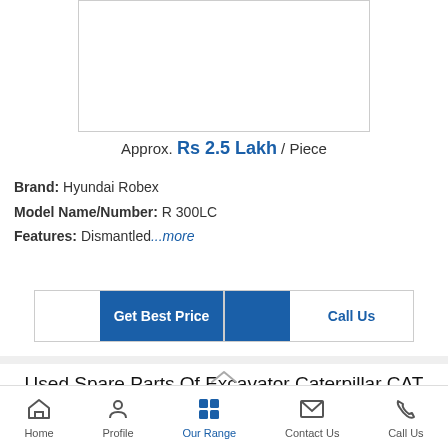[Figure (photo): Product image placeholder box for Hyundai Robex R 300LC excavator spare parts]
Approx. Rs 2.5 Lakh / Piece
Brand: Hyundai Robex
Model Name/Number: R 300LC
Features: Dismantled...more
Get Best Price
Call Us
Used Spare Parts Of Excavator Caterpillar CAT 320 D2
Home | Profile | Our Range | Contact Us | Call Us